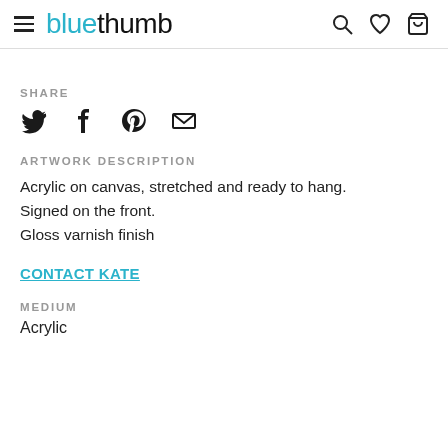bluethumb
SHARE
[Figure (other): Social sharing icons: Twitter bird, Facebook f, Pinterest P, Email envelope]
ARTWORK DESCRIPTION
Acrylic on canvas, stretched and ready to hang.
Signed on the front.
Gloss varnish finish
CONTACT KATE
MEDIUM
Acrylic